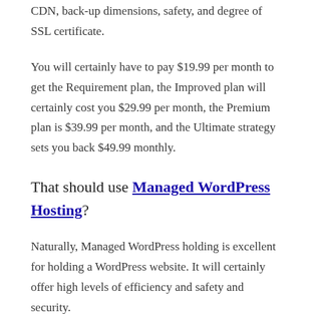CDN, back-up dimensions, safety, and degree of SSL certificate.
You will certainly have to pay $19.99 per month to get the Requirement plan, the Improved plan will certainly cost you $29.99 per month, the Premium plan is $39.99 per month, and the Ultimate strategy sets you back $49.99 monthly.
That should use Managed WordPress Hosting?
Naturally, Managed WordPress holding is excellent for holding a WordPress website. It will certainly offer high levels of efficiency and safety and security.
In addition, it comes furnished with custom-built tools and advanced cPanel, making it easy for you to handle your website.
You possibly will not call for handled WordPress holding as soon as possible if you're simply starting your first WordPress site. A